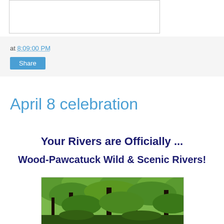[Figure (other): Empty white box with border at top of page]
at 8:09:00 PM
Share
April 8 celebration
Your Rivers are Officially ...
Wood-Pawcatuck Wild & Scenic Rivers!
[Figure (photo): Forest photo showing dense green trees with sunlight filtering through canopy]